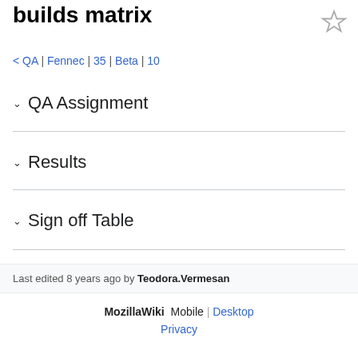builds matrix
< QA | Fennec | 35 | Beta | 10
QA Assignment
Results
Sign off Table
Last edited 8 years ago by Teodora.Vermesan
MozillaWiki  Mobile | Desktop  Privacy